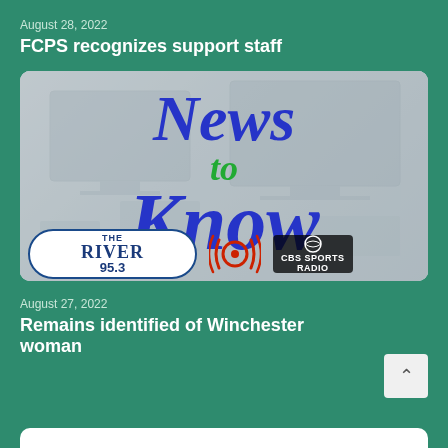August 28, 2022
FCPS recognizes support staff
[Figure (illustration): News to Know logo overlaid on a blurred office desk with monitors background, with The River 95.3 logo, a radio waves icon, and CBS Sports Radio logo at the bottom]
August 27, 2022
Remains identified of Winchester woman